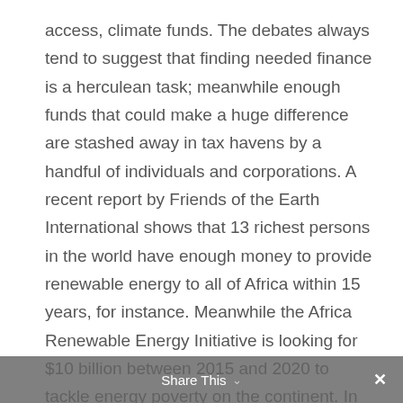access, climate funds. The debates always tend to suggest that finding needed finance is a herculean task; meanwhile enough funds that could make a huge difference are stashed away in tax havens by a handful of individuals and corporations. A recent report by Friends of the Earth International shows that 13 richest persons in the world have enough money to provide renewable energy to all of Africa within 15 years, for instance. Meanwhile the Africa Renewable Energy Initiative is looking for $10 billion between 2015 and 2020 to tackle energy poverty on the continent. In terms of the Green Climate Fund, the target is $100 billion per year from 2020. Meanwhile, the rich nations are spending over $1 trillion a year on destructive military hardware and warfare. The point is that the money is there; what is lacking is commitment to face the climate crisis.
Share This ×